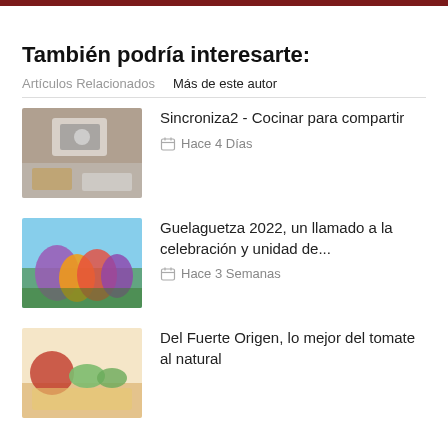También podría interesarte:
Artículos Relacionados   Más de este autor
Sincroniza2 - Cocinar para compartir
Hace 4 Días
Guelaguetza 2022, un llamado a la celebración y unidad de...
Hace 3 Semanas
Del Fuerte Origen, lo mejor del tomate al natural